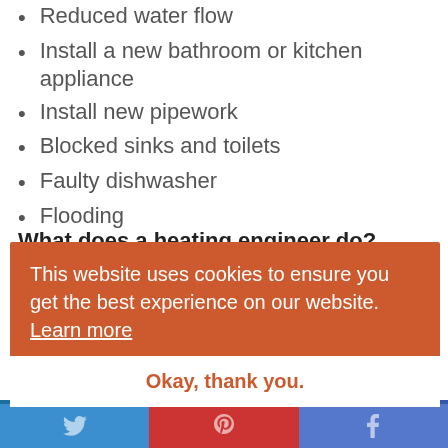Reduced water flow
Install a new bathroom or kitchen appliance
Install new pipework
Blocked sinks and toilets
Faulty dishwasher
Flooding
No water
Frozen pipes
What does a heating engineer do?
As you can see, a good plumber will be able to relia... whe... quali...istered to focus on appliances which provide heat.
[Figure (screenshot): Cookie consent overlay with orange background. Text reads: 'This website uses cookies to ensure you get the best experience on our website. Learn more'. Button below reads: 'Okay, thank you.']
[Figure (other): Social sharing bar with Twitter (blue), Pinterest (red), and Facebook (blue) icons at bottom of page.]